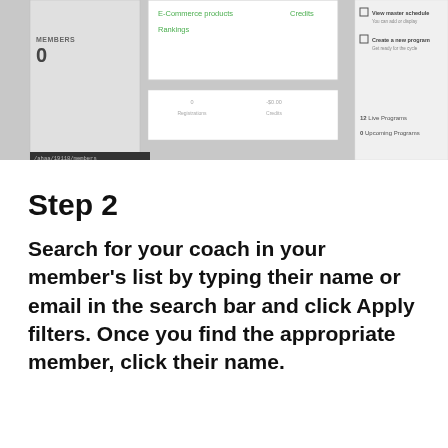[Figure (screenshot): Screenshot of a web application dashboard showing a dropdown menu with options including 'E-Commerce products', 'Rankings', 'Credits'; stats showing 0 registrations, -$0.00 credits, PAID $20.00, TEAMS 23, 12 Live Programs, 0 Upcoming Programs, and other UI elements. URL bar shows /ahaa/19118/members]
Step 2
Search for your coach in your member's list by typing their name or email in the search bar and click Apply filters. Once you find the appropriate member, click their name.